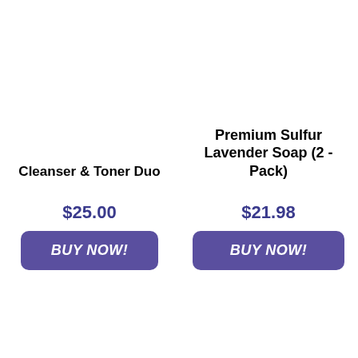Cleanser & Toner Duo
$25.00
BUY NOW!
Premium Sulfur Lavender Soap (2 - Pack)
$21.98
BUY NOW!